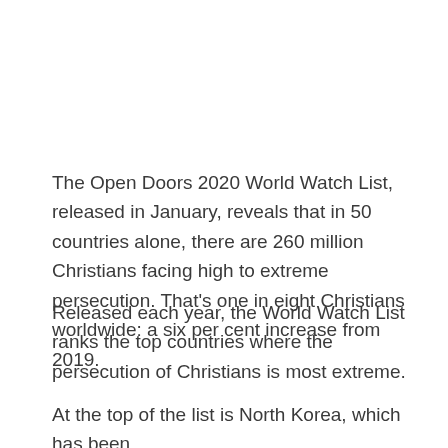The Open Doors 2020 World Watch List, released in January, reveals that in 50 countries alone, there are 260 million Christians facing high to extreme persecution. That’s one in eight Christians worldwide: a six per cent increase from 2019.
Released each year, the World Watch List ranks the top countries where the persecution of Christians is most extreme.
At the top of the list is North Korea, which has been